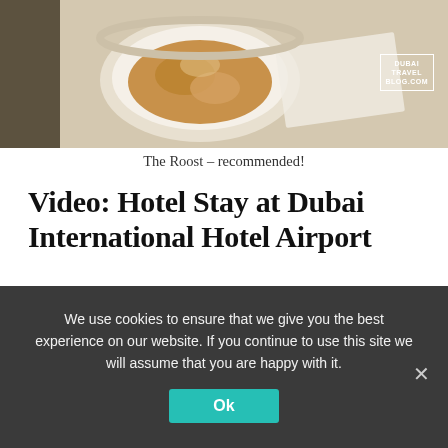[Figure (photo): Top-down photo of food in a bowl on a table, with a Dubai Travel Blog.com watermark in the top right corner]
The Roost – recommended!
Video: Hotel Stay at Dubai International Hotel Airport
Check out this video below as a preview of what transpired during our stay at Dubai International Hotel:
[Figure (screenshot): YouTube video thumbnail for 'Dubai International Hotel Stay at D...' showing the Dubai Travel Blog logo on a colorful background (left) and a hotel room image (right)]
We use cookies to ensure that we give you the best experience on our website. If you continue to use this site we will assume that you are happy with it.